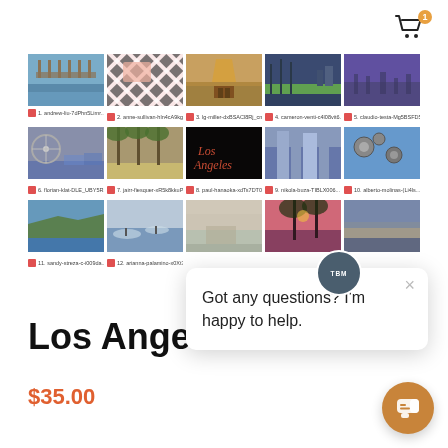[Figure (screenshot): Photo grid of Los Angeles images, 3 rows of 5 photos each with red icon and filename captions below each photo]
Los Angeles
$35.00
[Figure (infographic): Chat popup overlay with TBM badge, close button (×), and text 'Got any questions? I'm happy to help.' with orange chat button in bottom right corner]